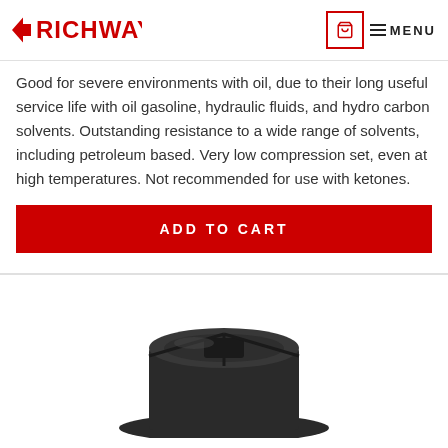RICHWAY | Cart | MENU
Good for severe environments with oil, due to their long useful service life with oil gasoline, hydraulic fluids, and hydro carbon solvents. Outstanding resistance to a wide range of solvents, including petroleum based. Very low compression set, even at high temperatures. Not recommended for use with ketones.
ADD TO CART
[Figure (photo): Dark-colored round rubber cap or knob product photo, partially visible at the bottom of the page.]